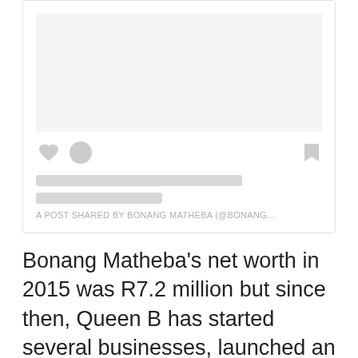[Figure (screenshot): A social media post card (Instagram-style) showing a light gray image placeholder area, heart and comment icons on the left, bookmark icon on the right, two gray placeholder text lines, and footer text reading 'A POST SHARED BY BONANG MATHEBA (@BONANG...']
Bonang Matheba's net worth in 2015 was R7.2 million but since then, Queen B has started several businesses, launched an emoji app that makes an estimated R46,800 per month, released a best-selling book, and bagged several endorsement